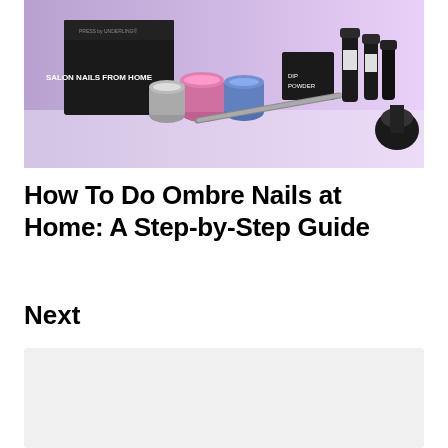[Figure (photo): A flat-lay product photo showing nail supplies including dip powder jars in pink, purple and blue, a nail file, black nail gel bottles, a black duster brush, and a black box labeled 'SALON NAILS FROM HOME' by Underling brand, set against a purple-pink gradient background.]
How To Do Ombre Nails at Home: A Step-by-Step Guide
Next
[Figure (other): A light gray placeholder rectangle, representing a loading or upcoming image/content block.]